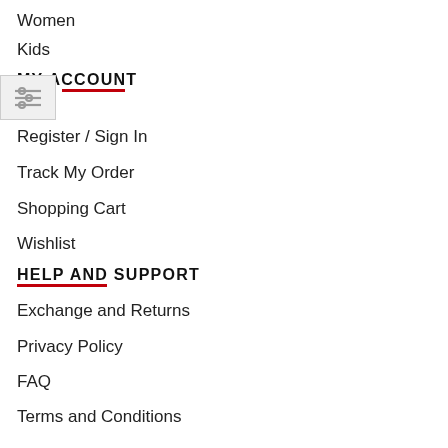Women
Kids
MY ACCOUNT
Register / Sign In
Track My Order
Shopping Cart
Wishlist
HELP AND SUPPORT
Exchange and Returns
Privacy Policy
FAQ
Terms and Conditions